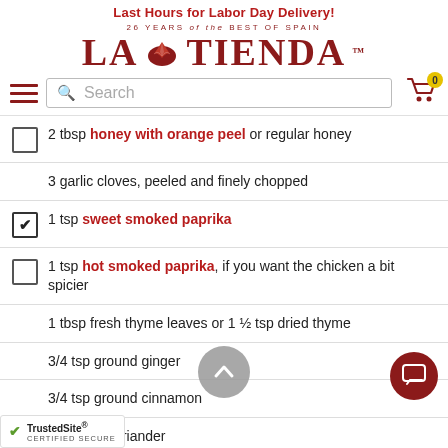Last Hours for Labor Day Delivery!
[Figure (logo): La Tienda logo with shell icon, text '26 YEARS of the BEST OF SPAIN' above]
[Figure (screenshot): Navigation row with hamburger menu, search box, and cart icon with 0 badge]
2 tbsp honey with orange peel or regular honey
3 garlic cloves, peeled and finely chopped
1 tsp sweet smoked paprika (checked)
1 tsp hot smoked paprika, if you want the chicken a bit spicier
1 tbsp fresh thyme leaves or 1 ½ tsp dried thyme
3/4 tsp ground ginger
3/4 tsp ground cinnamon
p ground coriander